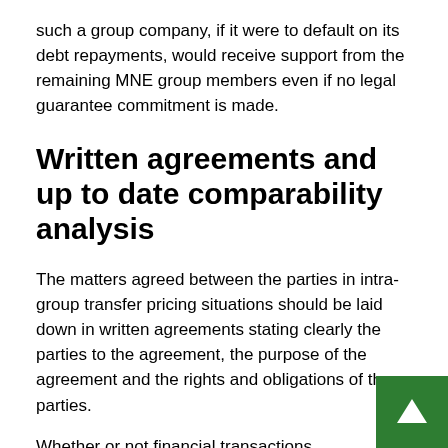such a group company, if it were to default on its debt repayments, would receive support from the remaining MNE group members even if no legal guarantee commitment is made.
Written agreements and up to date comparability analysis
The matters agreed between the parties in intra-group transfer pricing situations should be laid down in written agreements stating clearly the parties to the agreement, the purpose of the agreement and the rights and obligations of the parties.
Whether or not financial transactions are arm's length is generally verified by comparing the used intercompany pricing with the pricing of comparable business transactions between unrelated parties. Suitable business transactions in this regard may be for example loan